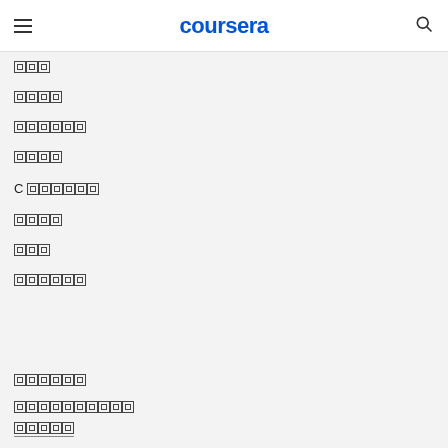coursera
[tofu][tofu][tofu]
[tofu][tofu][tofu][tofu]
[tofu][tofu][tofu][tofu][tofu][tofu]
[tofu][tofu][tofu][tofu]
C [tofu][tofu][tofu][tofu][tofu][tofu]
[tofu][tofu][tofu][tofu]
[tofu][tofu][tofu]
[tofu][tofu][tofu][tofu][tofu][tofu]
[tofu][tofu][tofu][tofu][tofu][tofu]
[tofu][tofu][tofu][tofu][tofu][tofu][tofu][tofu][tofu][tofu]
[tofu][tofu][tofu][tofu][tofu]